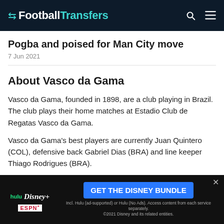FootballTransfers
Pogba and poised for Man City move
7 Jun 2021
About Vasco da Gama
Vasco da Gama, founded in 1898, are a club playing in Brazil. The club plays their home matches at Estadio Club de Regatas Vasco da Gama.
Vasco da Gama's best players are currently Juan Quintero (COL), defensive back Gabriel Dias (BRA) and line keeper Thiago Rodrigues (BRA).
Vasco da Gama players whose contracts are ending are shadow
[Figure (other): Disney Bundle advertisement banner with Hulu, Disney+, and ESPN+ logos and a GET THE DISNEY BUNDLE call-to-action button]